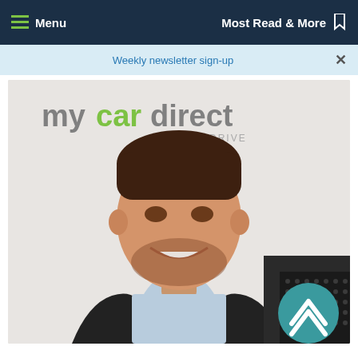Menu   Most Read & More
Weekly newsletter sign-up
[Figure (photo): Man in dark blazer and light blue shirt smiling, seated in front of a mycardirect CLICK&DRIVE logo banner. A teal circular scroll-up button is visible in the lower right corner of the photo.]